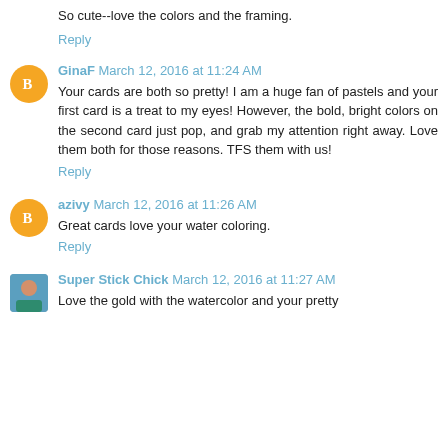So cute--love the colors and the framing.
Reply
GinaF March 12, 2016 at 11:24 AM
Your cards are both so pretty! I am a huge fan of pastels and your first card is a treat to my eyes! However, the bold, bright colors on the second card just pop, and grab my attention right away. Love them both for those reasons. TFS them with us!
Reply
azivy March 12, 2016 at 11:26 AM
Great cards love your water coloring.
Reply
Super Stick Chick March 12, 2016 at 11:27 AM
Love the gold with the watercolor and your pretty